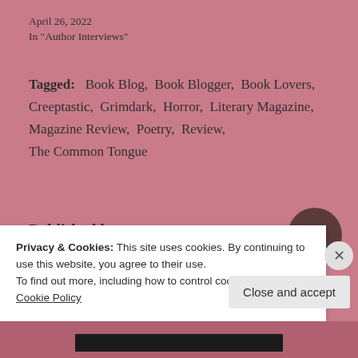April 26, 2022
In "Author Interviews"
Tagged:  Book Blog,  Book Blogger,  Book Lovers,  Creeptastic,  Grimdark,  Horror,  Literary Magazine,  Magazine Review,  Poetry,  Review,  The Common Tongue
Published by
Privacy & Cookies: This site uses cookies. By continuing to use this website, you agree to their use.
To find out more, including how to control cookies, see here: Cookie Policy
Close and accept